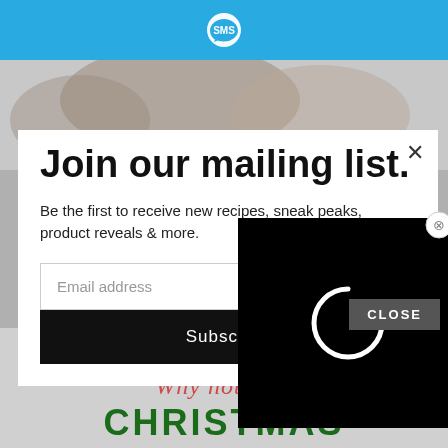[Figure (screenshot): Blue top bar with SMS chat bubble logo]
[Figure (photo): Background food/dessert photo, partially visible]
Join our mailing list.
Be the first to receive new recipes, sneak peaks, product reveals & more.
Email address
Subscribe
[Figure (screenshot): Black loading overlay with spinning circle indicator and CLOSE button]
Why not stop
CHRISTMAS